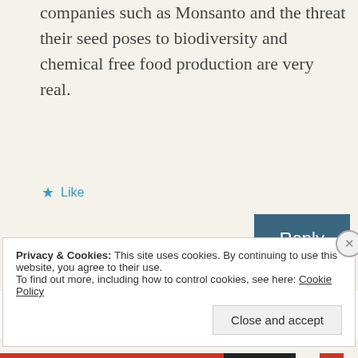companies such as Monsanto and the threat their seed poses to biodiversity and chemical free food production are very real.
★ Like
Reply
ladyredspecs
Privacy & Cookies: This site uses cookies. By continuing to use this website, you agree to their use.
To find out more, including how to control cookies, see here: Cookie Policy
Close and accept